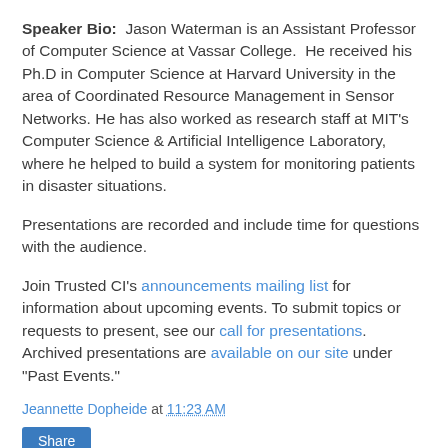Speaker Bio:  Jason Waterman is an Assistant Professor of Computer Science at Vassar College.  He received his Ph.D in Computer Science at Harvard University in the area of Coordinated Resource Management in Sensor Networks.  He has also worked as research staff at MIT's Computer Science & Artificial Intelligence Laboratory, where he helped to build a system for monitoring patients in disaster situations.
Presentations are recorded and include time for questions with the audience.
Join Trusted CI's announcements mailing list for information about upcoming events. To submit topics or requests to present, see our call for presentations. Archived presentations are available on our site under "Past Events."
Jeannette Dopheide at 11:23 AM